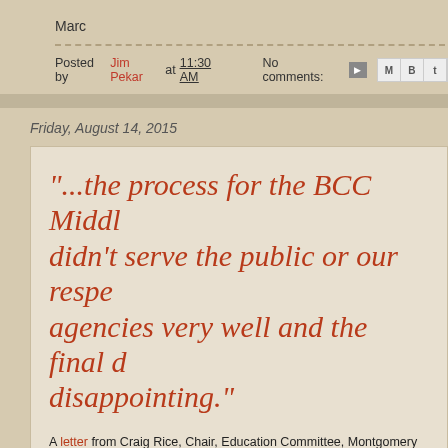Marc
Posted by Jim Pekar at 11:30 AM   No comments:
Friday, August 14, 2015
"...the process for the BCC Middl... didn't serve the public or our respe... agencies very well and the final d... disappointing."
A letter from Craig Rice, Chair, Education Committee, Montgomery C... Casey Anderson, Chair, Montgomery County Planning Board:
The final design is disappointing.